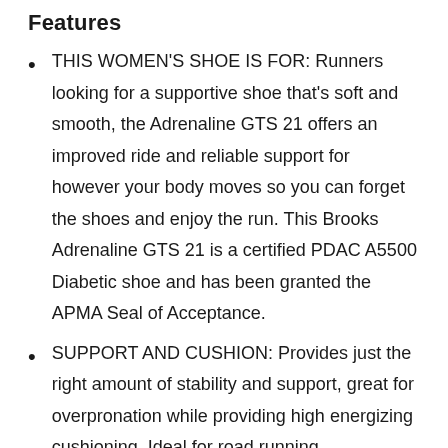Features
THIS WOMEN'S SHOE IS FOR: Runners looking for a supportive shoe that's soft and smooth, the Adrenaline GTS 21 offers an improved ride and reliable support for however your body moves so you can forget the shoes and enjoy the run. This Brooks Adrenaline GTS 21 is a certified PDAC A5500 Diabetic shoe and has been granted the APMA Seal of Acceptance.
SUPPORT AND CUSHION: Provides just the right amount of stability and support, great for overpronation while providing high energizing cushioning. Ideal for road running